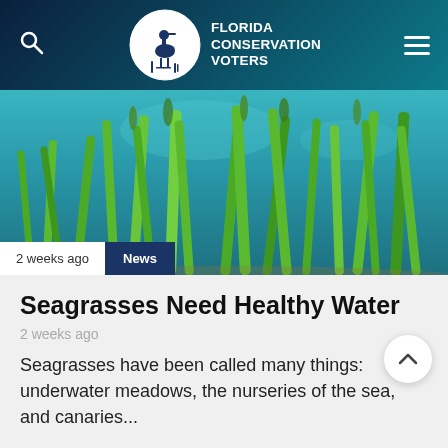FLORIDA CONSERVATION VOTERS
[Figure (photo): Underwater photograph of seagrass with green blades rising toward the surface in teal/turquoise water]
2 weeks ago
News
Seagrasses Need Healthy Water
2 weeks ago
Seagrasses have been called many things: underwater meadows, the nurseries of the sea, and canaries...
CONTINUE READING